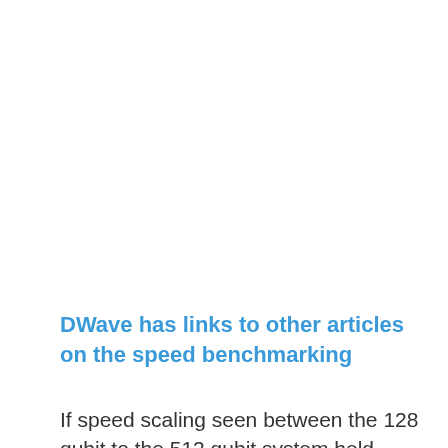DWave has links to other articles on the speed benchmarking
If speed scaling seen between the 128 qubit to the 512 qubit system held between the